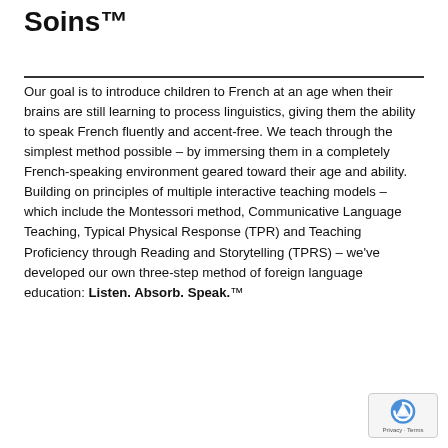Soins™
Our goal is to introduce children to French at an age when their brains are still learning to process linguistics, giving them the ability to speak French fluently and accent-free. We teach through the simplest method possible – by immersing them in a completely French-speaking environment geared toward their age and ability. Building on principles of multiple interactive teaching models – which include the Montessori method, Communicative Language Teaching, Typical Physical Response (TPR) and Teaching Proficiency through Reading and Storytelling (TPRS) – we've developed our own three-step method of foreign language education: Listen. Absorb. Speak.™